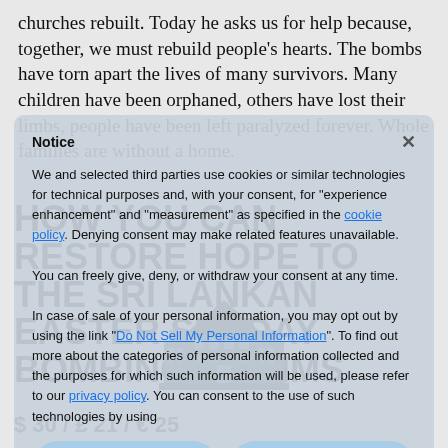churches rebuilt. Today he asks us for help because, together, we must rebuild people's hearts. The bombs have torn apart the lives of many survivors. Many children have been orphaned, others have lost their limbs, people have been left paralyzed forever. Whole families are without a home.
HOW YOU CAN RESTORE HOPE TO THE SRI LANKAN EASTER SUNDAY BOMBING VICTIMS
[Figure (screenshot): Cookie consent notice overlay with title 'Notice', text about cookies and third parties, links to cookie policy, Do Not Sell My Personal Information, and privacy policy, with Reject and Accept buttons and Learn more and customise link.]
[Figure (illustration): Dark silhouette illustration of a house/building]
$ 30 / £ 21 / € 25